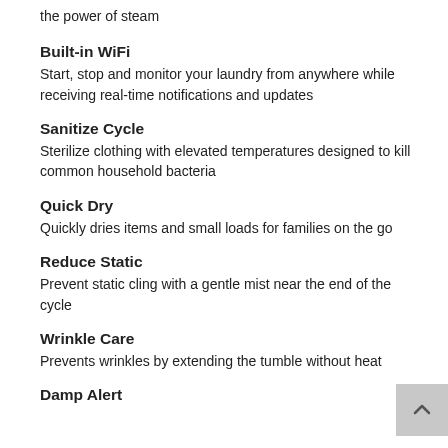the power of steam
Built-in WiFi
Start, stop and monitor your laundry from anywhere while receiving real-time notifications and updates
Sanitize Cycle
Sterilize clothing with elevated temperatures designed to kill common household bacteria
Quick Dry
Quickly dries items and small loads for families on the go
Reduce Static
Prevent static cling with a gentle mist near the end of the cycle
Wrinkle Care
Prevents wrinkles by extending the tumble without heat
Damp Alert